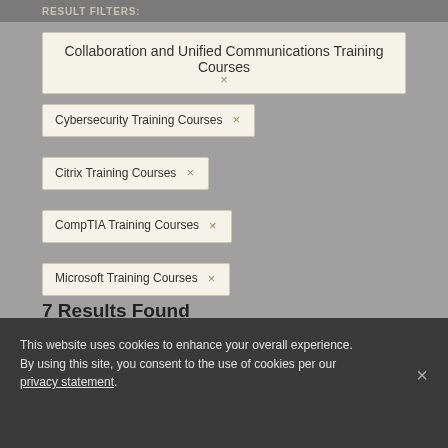RESULT FILTERS:
Collaboration and Unified Communications Training Courses ×
Cybersecurity Training Courses ×
Citrix Training Courses ×
CompTIA Training Courses ×
Microsoft Training Courses ×
7 Results Found
RESULTS PER PAGE:
10  40  80
This website uses cookies to enhance your overall experience. By using this site, you consent to the use of cookies per our privacy statement.